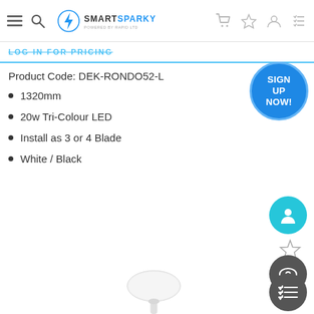SmartSparky — Powered by Rapid Ltd
LOG IN FOR PRICING
Product Code: DEK-RONDO52-L
1320mm
20w Tri-Colour LED
Install as 3 or 4 Blade
White / Black
[Figure (illustration): SIGN UP NOW! circular button badge in blue]
[Figure (illustration): Cyan circular user/account icon button]
[Figure (illustration): Star/wishlist icon]
[Figure (illustration): Dark circular eye/visibility icon button]
[Figure (illustration): Dark circular list/menu icon button]
[Figure (photo): White ceiling fan base/mount shown from below, partially visible at bottom of page]